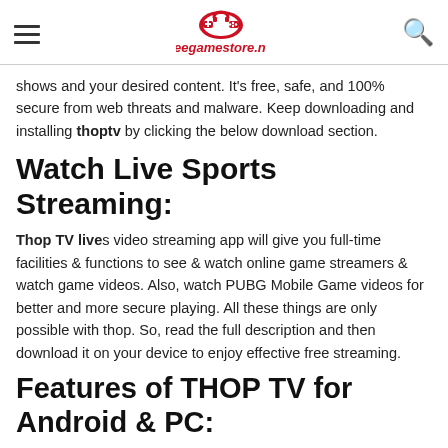freegamestore.net
shows and your desired content. It's free, safe, and 100% secure from web threats and malware. Keep downloading and installing thoptv by clicking the below download section.
Watch Live Sports Streaming:
Thop TV lives video streaming app will give you full-time facilities & functions to see & watch online game streamers & watch game videos. Also, watch PUBG Mobile Game videos for better and more secure playing. All these things are only possible with thop. So, read the full description and then download it on your device to enjoy effective free streaming.
Features of THOP TV for Android & PC: